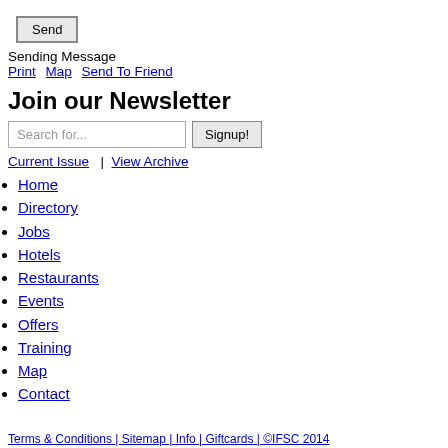Send
Sending Message
Print   Map   Send To Friend
Join our Newsletter
Search for...   Signup!
Current Issue  |  View Archive
Home
Directory
Jobs
Hotels
Restaurants
Events
Offers
Training
Map
Contact
Terms & Conditions | Sitemap | Info | Giftcards | ©IFSC 2014